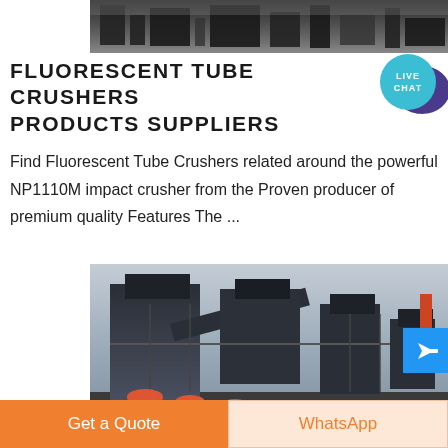[Figure (photo): Industrial machinery/crushing equipment scene with dark metal structures and workers in background]
FLUORESCENT TUBE CRUSHERS PRODUCTS SUPPLIERS
[Figure (infographic): Live Chat speech bubble icon in teal/purple colors]
Find Fluorescent Tube Crushers related around the powerful NP1110M impact crusher from the Proven producer of premium quality Features The ...
[Figure (photo): Large industrial crushing/screening plant with conveyor belts, hoppers and orange mechanical components]
Get a Quote
WhatsApp